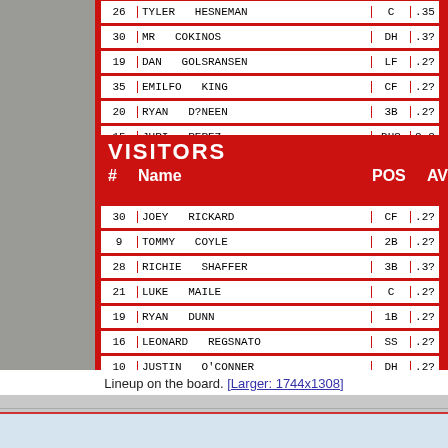[Figure (photo): Photograph of a red baseball lineup board mounted on a concrete block wall. The board shows two sections: a partial top section with home team rows and a VISITORS section. Top rows show players: #26 TYLER HESNEMAN C .35, #30 MR COKINOS DH .3?, #19 DAN GOLSRANSEN LF .2?, #35 EMILFO KING CF .2?, #20 RYAN D?NEEN 3B .2?, #15 JURI PEREZ DH? 2-2. Visitors section header reads 'VISITORS' with '# Name' and 'POS AV' columns. Visitor rows: #30 JOEY RICKARD CF .2?, #9 TOMMY COYLE 2B .2?, #28 RICHIE SHAFFER 3B .3?, #21 LUKE MAILE C .2?, #19 RYAN DUNN 1B .2?, #16 LEONARDO REGSNATO SS .2?, #10 JUSTIN O'CONNER DH .2?, #15 MARTY GANTT LF .2?, #24 JOEL CAMINERO RF .2?, #43 EDGAR GUIJONEZ RHP 73.]
Lineup on the board. [Larger: 1744x1308]